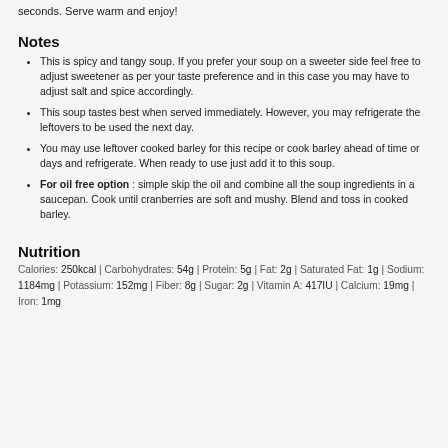seconds. Serve warm and enjoy!
Notes
This is spicy and tangy soup. If you prefer your soup on a sweeter side feel free to adjust sweetener as per your taste preference and in this case you may have to adjust salt and spice accordingly.
This soup tastes best when served immediately. However, you may refrigerate the leftovers to be used the next day.
You may use leftover cooked barley for this recipe or cook barley ahead of time or days and refrigerate. When ready to use just add it to this soup.
For oil free option : simple skip the oil and combine all the soup ingredients in a saucepan. Cook until cranberries are soft and mushy. Blend and toss in cooked barley.
Nutrition
Calories: 250kcal | Carbohydrates: 54g | Protein: 5g | Fat: 2g | Saturated Fat: 1g | Sodium: 1184mg | Potassium: 152mg | Fiber: 8g | Sugar: 2g | Vitamin A: 417IU | Calcium: 19mg | Iron: 1mg